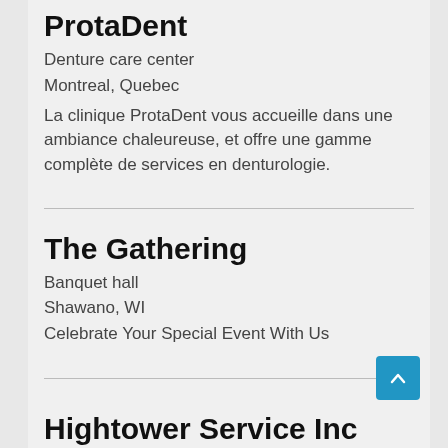ProtaDent
Denture care center
Montreal, Quebec
La clinique ProtaDent vous accueille dans une ambiance chaleureuse, et offre une gamme complète de services en denturologie.
The Gathering
Banquet hall
Shawano, WI
Celebrate Your Special Event With Us
Hightower Service Inc